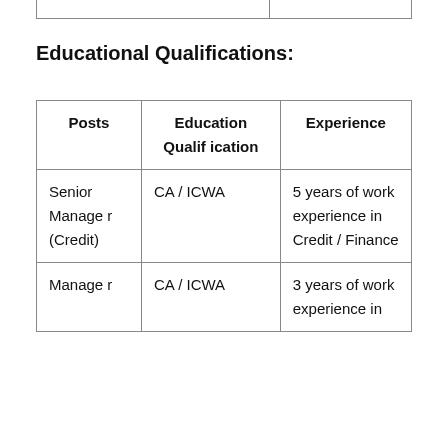Educational Qualifications:
| Posts | Education Qualification | Experience |
| --- | --- | --- |
| Senior Manager (Credit) | CA / ICWA | 5 years of work experience in Credit / Finance |
| Manager | CA / ICWA | 3 years of work experience in |